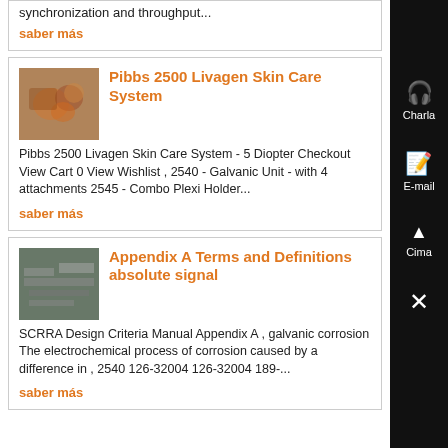synchronization and throughput...
saber más
Pibbs 2500 Livagen Skin Care System
Pibbs 2500 Livagen Skin Care System - 5 Diopter Checkout View Cart 0 View Wishlist , 2540 - Galvanic Unit - with 4 attachments 2545 - Combo Plexi Holder...
saber más
Appendix A Terms and Definitions absolute signal
SCRRA Design Criteria Manual Appendix A , galvanic corrosion The electrochemical process of corrosion caused by a difference in , 2540 126-32004 126-32004 189-...
saber más